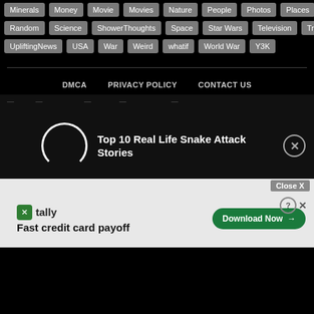Minerals Money Movie Movies Nature People Photos Places
Random Science ShowerThoughts Space Star Wars Television Travel
UpliftingNews USA War Weird whatif World War Y3K
DMCA  PRIVACY POLICY  CONTACT US
[Figure (screenshot): Popup overlay showing 'Top 10 Real Life Snake Attack Stories' with a circular loading/logo icon and an X close button]
[Figure (screenshot): Advertisement banner for Tally app: 'Fast credit card payoff' with Download Now button, help and close icons, and Close X button]